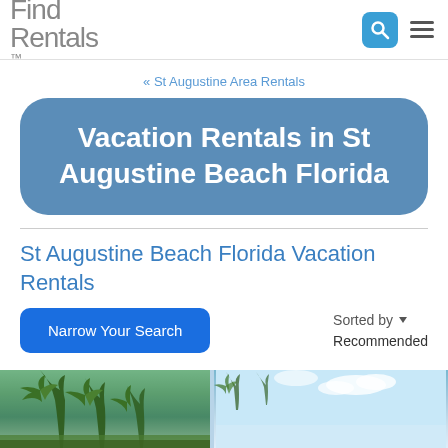Find Rentals
« St Augustine Area Rentals
Vacation Rentals in St Augustine Beach Florida
St Augustine Beach Florida Vacation Rentals
Narrow Your Search
Sorted by ▼ Recommended
[Figure (photo): Two photos side by side of tropical beach scenes with palm trees in St Augustine Beach Florida]